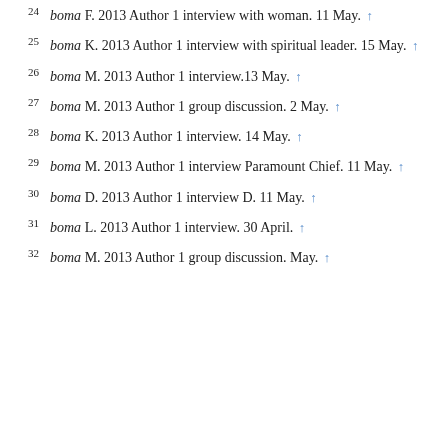boma F. 2013 Author 1 interview with woman. 11 May. ↑
boma K. 2013 Author 1 interview with spiritual leader. 15 May. ↑
boma M. 2013 Author 1 interview.13 May. ↑
boma M. 2013 Author 1 group discussion. 2 May. ↑
boma K. 2013 Author 1 interview. 14 May. ↑
boma M. 2013 Author 1 interview Paramount Chief. 11 May. ↑
boma D. 2013 Author 1 interview D. 11 May. ↑
boma L. 2013 Author 1 interview. 30 April. ↑
boma M. 2013 Author 1 group discussion. May. ↑